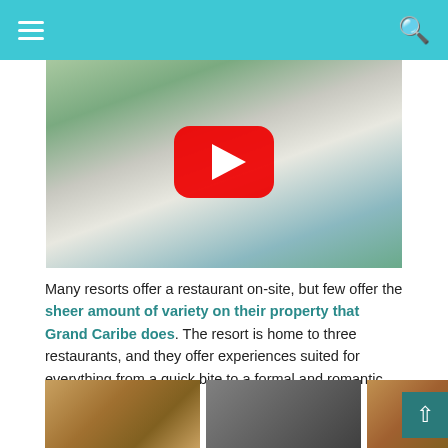Navigation bar with hamburger menu and search icon
[Figure (screenshot): Aerial/drone video thumbnail of a white building with rooftop terrace, outdoor seating, plants, and surrounding neighbourhood. A red YouTube play button overlay is centered on the image.]
Many resorts offer a restaurant on-site, but few offer the sheer amount of variety on their property that Grand Caribe does. The resort is home to three restaurants, and they offer experiences suited for everything from a quick bite to a formal and romantic dinner.
[Figure (photo): Three thumbnail photos of food/restaurant scenes at the bottom of the page]